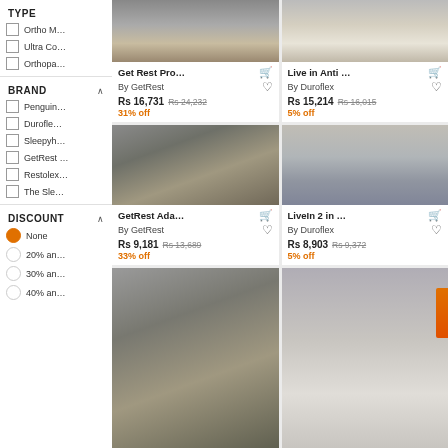TYPE
Ortho M...
Ultra Co...
Orthopa...
BRAND
Penguin...
Durofle...
Sleepyh...
GetRest ...
Restolex...
The Sle...
DISCOUNT
None
20% an...
30% an...
40% an...
[Figure (screenshot): Product card: Get Rest Pro... mattress on bed frame]
Get Rest Pro... By GetRest Rs 16,731 Rs 24,232 31% off
[Figure (screenshot): Product card: Live in Anti... mattress]
Live in Anti ... By Duroflex Rs 15,214 Rs 16,015 5% off
[Figure (screenshot): Product card: GetRest Ada... mattress on bed frame]
GetRest Ada... By GetRest Rs 9,181 Rs 13,689 33% off
[Figure (screenshot): Product card: LiveIn 2 in ... mattress]
LiveIn 2 in ... By Duroflex Rs 8,903 Rs 9,372 5% off
[Figure (screenshot): Product card: mattress on bed frame (partially visible)]
[Figure (screenshot): Product card: mattress (partially visible, orange brand tag)]